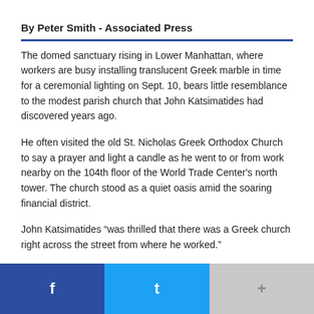By Peter Smith - Associated Press
The domed sanctuary rising in Lower Manhattan, where workers are busy installing translucent Greek marble in time for a ceremonial lighting on Sept. 10, bears little resemblance to the modest parish church that John Katsimatides had discovered years ago.
He often visited the old St. Nicholas Greek Orthodox Church to say a prayer and light a candle as he went to or from work nearby on the 104th floor of the World Trade Center’s north tower. The church stood as a quiet oasis amid the soaring financial district.
John Katsimatides “was thrilled that there was a Greek church right across the street from where he worked.”